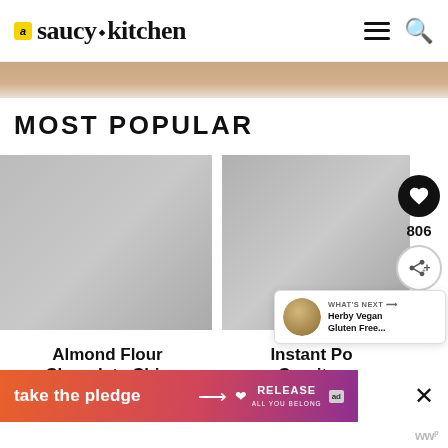saucy kitchen
[Figure (photo): Partial hero/banner image strip showing a person's torso/hands against a light background]
MOST POPULAR
[Figure (photo): Card image for Almond Flour Chocolate Chip recipe]
[Figure (photo): Card image for Instant Pot Chicken Carnitas recipe]
[Figure (photo): What's Next thumbnail - Herby Vegan Gluten Free item]
Almond Flour Chocolate Chip
Instant Pot Chicken Carnitas
WHAT'S NEXT → Herby Vegan Gluten Free...
806
[Figure (infographic): Ad banner: take the pledge → RELEASE ad with heart icon and close button]